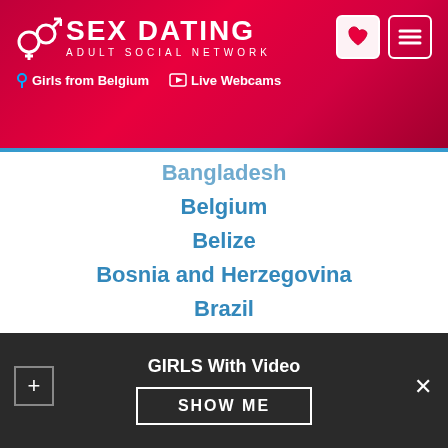[Figure (screenshot): Sex Dating Adult Social Network website header with gender symbols logo, navigation links 'Girls from Belgium' and 'Live Webcams', heart icon button and hamburger menu button]
Bangladesh
Belgium
Belize
Bosnia and Herzegovina
Brazil
Bulgaria
Cambodia
Canada
Chile
China
Colombia
Costa Rica
Croatia
GIRLS With Video
SHOW ME